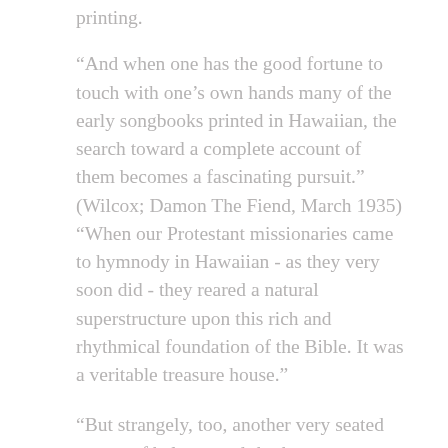printing.
“And when one has the good fortune to touch with one’s own hands many of the early songbooks printed in Hawaiian, the search toward a complete account of them becomes a fascinating pursuit.” (Wilcox; Damon The Fiend, March 1935)
“When our Protestant missionaries came to hymnody in Hawaiian - as they very soon did - they reared a natural superstructure upon this rich and rhythmical foundation of the Bible. It was a veritable treasure house.”
“But strangely, too, another very seated source of balance and rhythm